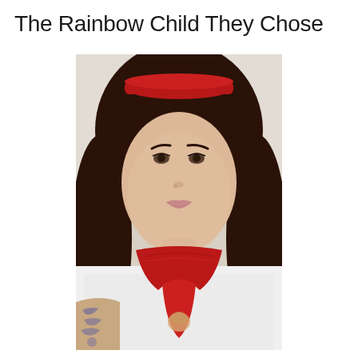The Rainbow Child They Chose
[Figure (photo): Portrait selfie of a young person with dark brown shoulder-length hair, wearing a red bandana headband and a red bandana scarf tied around their neck, white t-shirt, visible tattoo on left arm, neutral expression, light/beige background.]